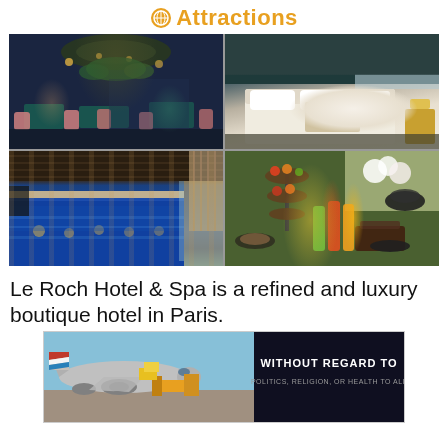Attractions
[Figure (photo): 4-photo grid collage of Le Roch Hotel & Spa: top-left is a dark elegant restaurant with pendant lights and pink chairs, top-right is a luxury hotel room with white bedding and teal accent walls, bottom-left is an indoor swimming pool with blue water and warm lighting, bottom-right is a colorful food/beverage spread with pastries and juice bottles]
Le Roch Hotel & Spa is a refined and luxury boutique hotel in Paris.
[Figure (photo): Advertisement banner showing an airplane being loaded with cargo on the left side, and dark background with text 'WITHOUT REGARD TO POLITICS, RELIGION, OR HEALTH TO ALL' on the right side]